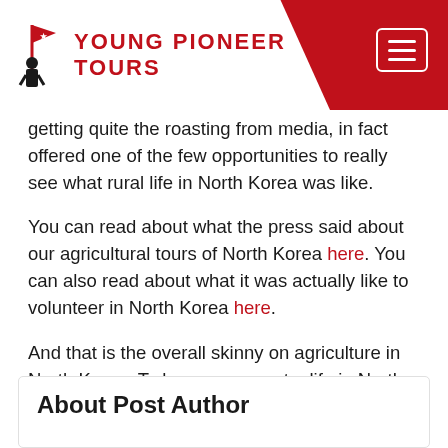[Figure (logo): Young Pioneer Tours logo with red navigation bar and hamburger menu button]
getting quite the roasting from media, in fact offered one of the few opportunities to really see what rural life in North Korea was like.
You can read about what the press said about our agricultural tours of North Korea here. You can also read about what it was actually like to volunteer in North Korea here.
And that is the overall skinny on agriculture in North Korea. To learn see country life in North Korea, or join one of our tours check out our North Korea program.
About Post Author